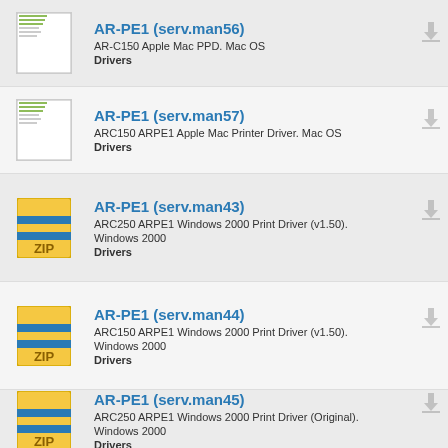AR-PE1 (serv.man56) | AR-C150 Apple Mac PPD. Mac OS | Drivers
AR-PE1 (serv.man57) | ARC150 ARPE1 Apple Mac Printer Driver. Mac OS | Drivers
AR-PE1 (serv.man43) | ARC250 ARPE1 Windows 2000 Print Driver (v1.50). | Windows 2000 | Drivers
AR-PE1 (serv.man44) | ARC150 ARPE1 Windows 2000 Print Driver (v1.50). | Windows 2000 | Drivers
AR-PE1 (serv.man45) | ARC250 ARPE1 Windows 2000 Print Driver (Original). | Windows 2000 | Drivers